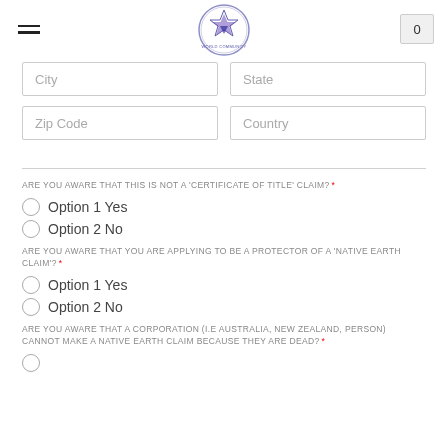Navigation header with logo and cart button showing 0
City | State
Zip Code | Country
ARE YOU AWARE THAT THIS IS NOT A 'CERTIFICATE OF TITLE' CLAIM? *
Option 1 Yes
Option 2 No
ARE YOU AWARE THAT YOU ARE APPLYING TO BE A PROTECTOR OF A 'NATIVE EARTH CLAIM'? *
Option 1 Yes
Option 2 No
ARE YOU AWARE THAT A CORPORATION (I.E AUSTRALIA, NEW ZEALAND, PERSON) CANNOT MAKE A NATIVE EARTH CLAIM BECAUSE THEY ARE DEAD? *